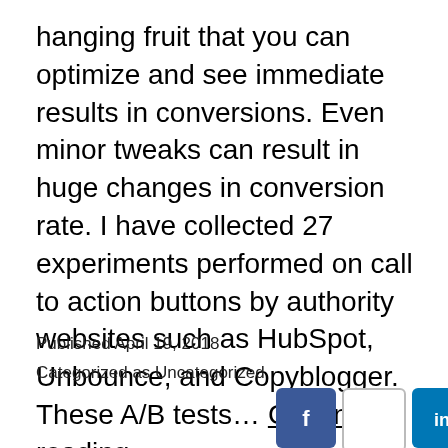hanging fruit that you can optimize and see immediate results in conversions. Even minor tweaks can result in huge changes in conversion rate. I have collected 27 experiments performed on call to action buttons by authority websites such as HubSpot, Unbounce, and Copyblogger. These A/B tests… Continue reading
Published April 19, 2018
Categorized as Uncategorized
[Figure (other): Social sharing buttons: Facebook, empty/white button, LinkedIn, WhatsApp, Email, Twitter, Plus/More]